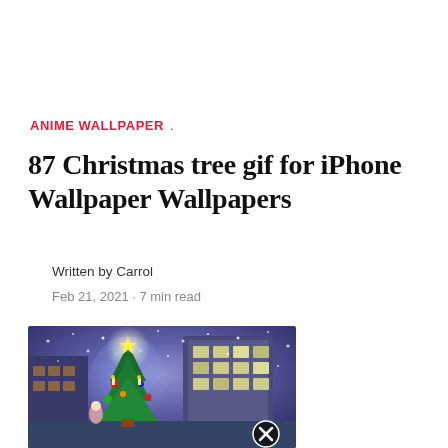ANIME WALLPAPER .
87 Christmas tree gif for iPhone Wallpaper Wallpapers
Written by Carrol
Feb 21, 2021 · 7 min read
[Figure (photo): Anime-style Christmas scene with a decorated Christmas tree glowing with a star on top, snow falling, a child figure, and a large ornate building in the background at night. A close/remove button (X in circle) is visible in the lower right corner of the image.]